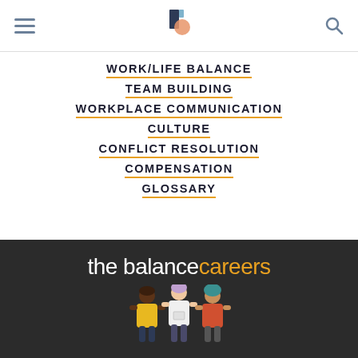Navigation menu header with hamburger icon, balance logo, and search icon
WORK/LIFE BALANCE
TEAM BUILDING
WORKPLACE COMMUNICATION
CULTURE
CONFLICT RESOLUTION
COMPENSATION
GLOSSARY
[Figure (logo): The Balance Careers logo with illustrated people figures on dark background]
the balance careers